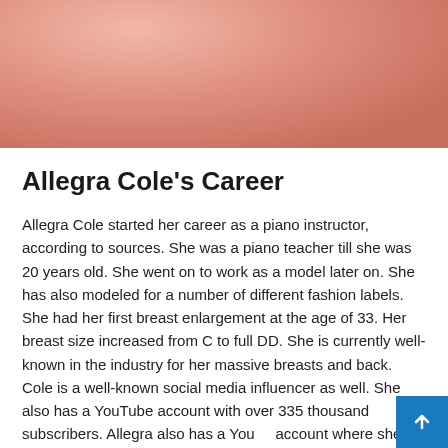[Figure (photo): Close-up photo with peach/salmon tones, appears to show fabric or clothing in warm pink/peach colors]
Allegra Cole's Career
Allegra Cole started her career as a piano instructor, according to sources. She was a piano teacher till she was 20 years old. She went on to work as a model later on. She has also modeled for a number of different fashion labels. She had her first breast enlargement at the age of 33. Her breast size increased from C to full DD. She is currently well-known in the industry for her massive breasts and back. Cole is a well-known social media influencer as well. She also has a YouTube account with over 335 thousand subscribers. Allegra also has a YouTube account where she posts piano lessons and fitness videos. S